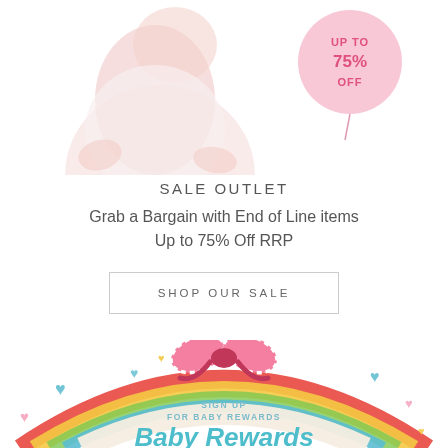[Figure (photo): Baby in white outfit sitting, partial view (top half of page), with a pink balloon/circle on the right showing 'UP TO 75% OFF' text]
SALE OUTLET
Grab a Bargain with End of Line items
Up to 75% Off RRP
SHOP OUR SALE
[Figure (illustration): Baby Rewards section with rainbow arc, pink striped bow, colorful hearts, 'SIGN UP FOR BABY REWARDS' text, and 'Baby Rewards' in teal bubble letters]